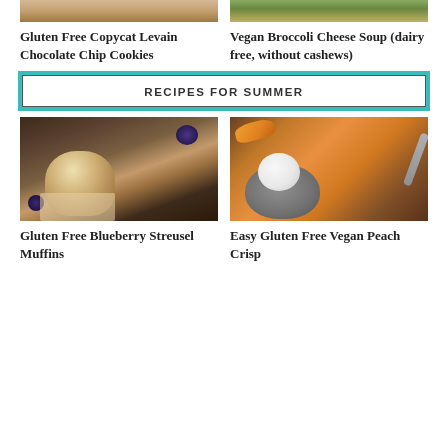[Figure (photo): Top portion of cookie/food image cropped at top of page]
[Figure (photo): Top portion of broccoli cheese soup image cropped at top of page]
Gluten Free Copycat Levain Chocolate Chip Cookies
Vegan Broccoli Cheese Soup (dairy free, without cashews)
RECIPES FOR SUMMER
[Figure (photo): Gluten free blueberry streusel muffin on wooden board with blueberries]
[Figure (photo): Easy gluten free vegan peach crisp in bowl with ice cream scoop]
Gluten Free Blueberry Streusel Muffins
Easy Gluten Free Vegan Peach Crisp